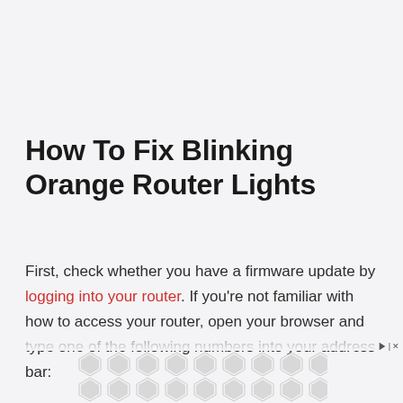How To Fix Blinking Orange Router Lights
First, check whether you have a firmware update by logging into your router. If you're not familiar with how to access your router, open your browser and type one of the following numbers into your address bar: